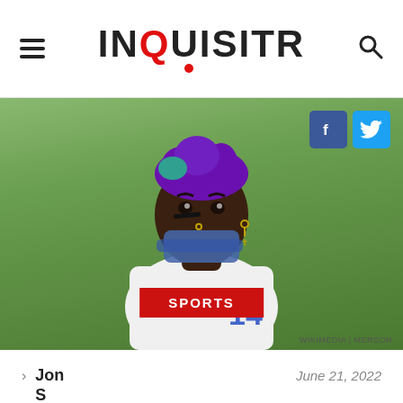INQUISITR
[Figure (photo): Football player with purple and teal hair, wearing a blue face mask and white jersey with number 14, with a cross earring, looking at the camera against a green background. WIKIMEDIA | MERSON credit shown.]
WIKIMEDIA | MERSON
Jon
June 21, 2022